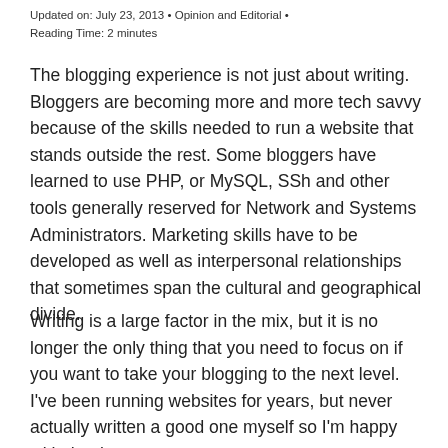Updated on: July 23, 2013 • Opinion and Editorial • Reading Time: 2 minutes
The blogging experience is not just about writing. Bloggers are becoming more and more tech savvy because of the skills needed to run a website that stands outside the rest. Some bloggers have learned to use PHP, or MySQL, SSh and other tools generally reserved for Network and Systems Administrators. Marketing skills have to be developed as well as interpersonal relationships that sometimes span the cultural and geographical divide.
Writing is a large factor in the mix, but it is no longer the only thing that you need to focus on if you want to take your blogging to the next level. I've been running websites for years, but never actually written a good one myself so I'm happy with that last